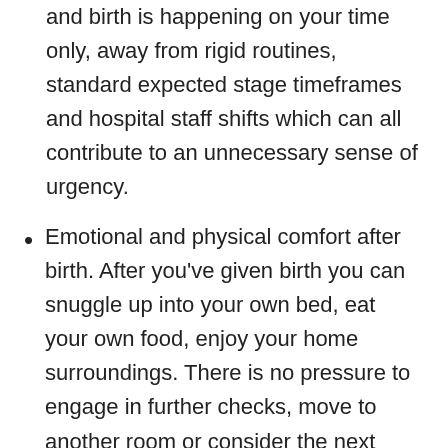and birth is happening on your time only, away from rigid routines, standard expected stage timeframes and hospital staff shifts which can all contribute to an unnecessary sense of urgency.
Emotional and physical comfort after birth. After you’ve given birth you can snuggle up into your own bed, eat your own food, enjoy your home surroundings. There is no pressure to engage in further checks, move to another room or consider the next process of packing up to go another facility or home.